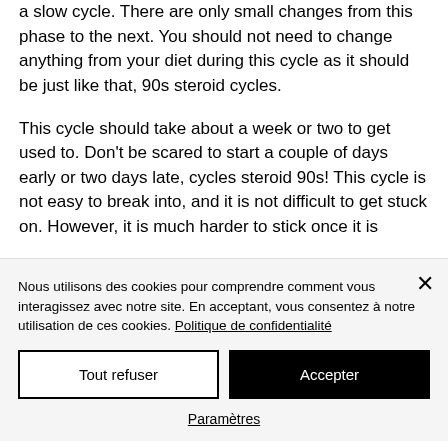a slow cycle. There are only small changes from this phase to the next. You should not need to change anything from your diet during this cycle as it should be just like that, 90s steroid cycles.
This cycle should take about a week or two to get used to. Don't be scared to start a couple of days early or two days late, cycles steroid 90s! This cycle is not easy to break into, and it is not difficult to get stuck on. However, it is much harder to stick once it is
Nous utilisons des cookies pour comprendre comment vous interagissez avec notre site. En acceptant, vous consentez à notre utilisation de ces cookies. Politique de confidentialité
Tout refuser
Accepter
Paramètres